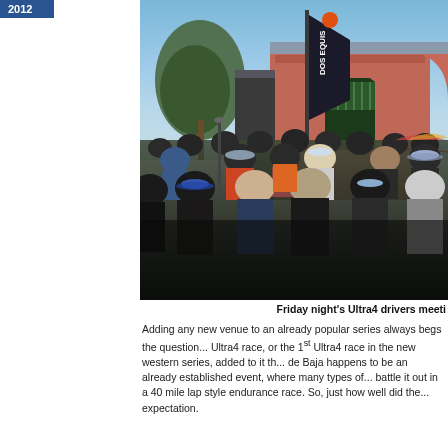2012
[Figure (photo): A large crowd of people gathered outside a restaurant/bar at dusk, with a Dos Equis banner flag visible and a pink/red building in the background. Friday night's Ultra4 drivers meeting scene.]
Friday night's Ultra4 drivers meeti
Adding any new venue to an already popular series always begs the question... Ultra4 race, or the 1st Ultra4 race in the new western series, added to it th... de Baja happens to be an already established event, where many types o... battle it out in a 40 mile lap style endurance race. So, just how well did the... expectation.